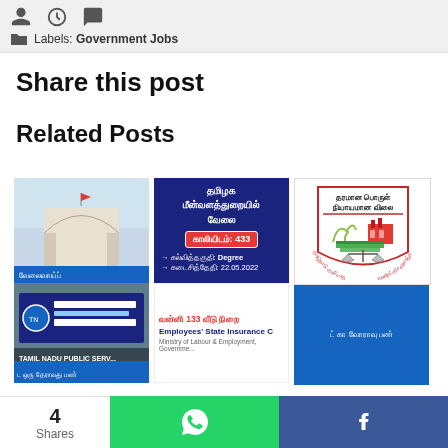Labels: Government Jobs
Share this post
Related Posts
[Figure (photo): Grid of related post thumbnails including Tamil Nadu government job listings, Tamil Nadu Fisheries Department job post, and an ESI Corporation post]
4 Shares | WhatsApp share | Facebook share